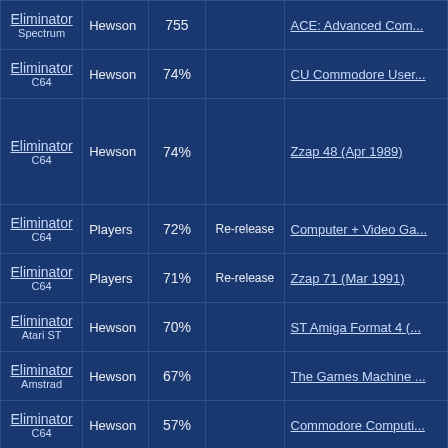| Game | Publisher | Score | Notes | Source |
| --- | --- | --- | --- | --- |
| Eliminator
Spectrum | Hewson | 755 |  | ACE: Advanced Com... |
| Eliminator
C64 | Hewson | 74% |  | CU Commodore User... |
| Eliminator
C64 | Hewson | 74% |  | Zzap 48 (Apr 1989) |
| Eliminator
C64 | Players | 72% | Re-release | Computer + Video Ga... |
| Eliminator
C64 | Players | 71% | Re-release | Zzap 71 (Mar 1991) |
| Eliminator
Atari ST | Hewson | 70% |  | ST Amiga Format 4 (...) |
| Eliminator
Amstrad | Hewson | 67% |  | The Games Machine ... |
| Eliminator
C64 | Hewson | 57% |  | Commodore Computi... |
| Eliminator
Amiga | Hewson | 53.8% |  | Svenska Hemdatorny... |
| Eliminator | Hewson | 5/10 |  | Datormagazin Vol 19... |